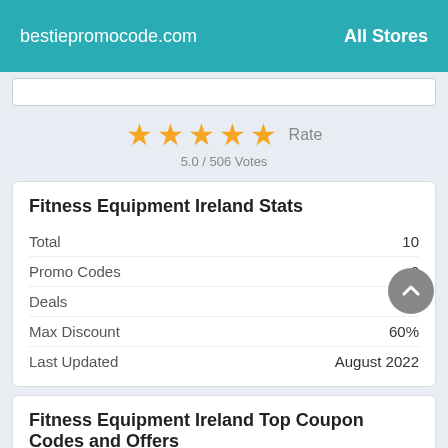bestiepromocode.com    All Stores
[Figure (other): 5 gold stars rating with 'Rate' label and '5.0 / 506 Votes' below]
Fitness Equipment Ireland Stats
| Total | 10 |
| Promo Codes | 0 |
| Deals | 10 |
| Max Discount | 60% |
| Last Updated | August 2022 |
Fitness Equipment Ireland Top Coupon Codes and Offers
Bodyweight Machines Save Up To 15%